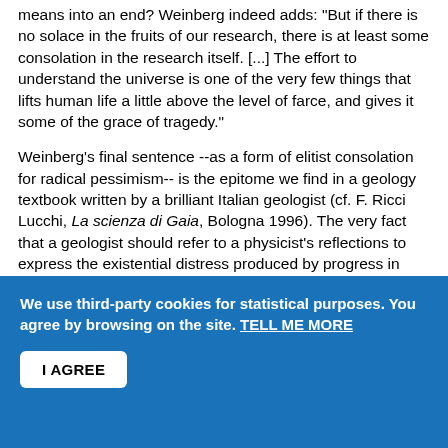means into an end? Weinberg indeed adds: "But if there is no solace in the fruits of our research, there is at least some consolation in the research itself. [...] The effort to understand the universe is one of the very few things that lifts human life a little above the level of farce, and gives it some of the grace of tragedy."
Weinberg's final sentence --as a form of elitist consolation for radical pessimism-- is the epitome we find in a geology textbook written by a brilliant Italian geologist (cf. F. Ricci Lucchi, La scienza di Gaia, Bologna 1996). The very fact that a geologist should refer to a physicist's reflections to express the existential distress produced by progress in scientific knowledge shows how such a distress is not limited to a subject area, but it is common to all. This distress though is rooted in motivations falling outside the scope of science, and may be overcome exclusively with the support of philosophical or religious inclinations. Science intends to be,
We use third-party cookies for statistical purposes. You agree by browsing on the site. TELL ME MORE
I AGREE